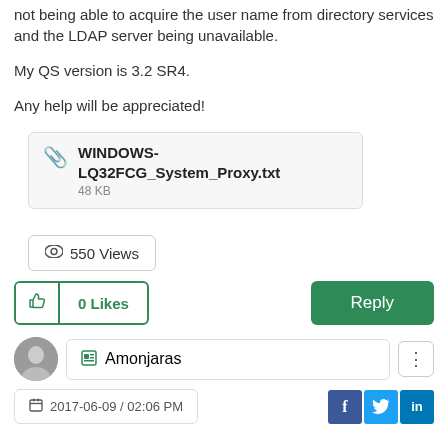not being able to acquire the user name from directory services and the LDAP server being unavailable.
My QS version is 3.2 SR4.
Any help will be appreciated!
[Figure (other): Attachment box showing file WINDOWS-LQ32FCG_System_Proxy.txt, 48 KB]
550 Views
0 Likes
Reply
Amonjaras
2017-06-09 / 02:06 PM